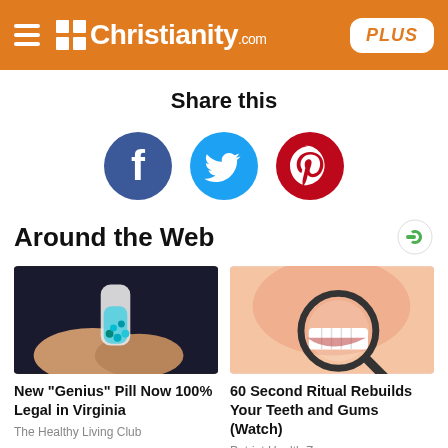Christianity.com PLUS
Share this
[Figure (infographic): Social sharing icons: Facebook (blue circle), Twitter (blue circle), Pinterest (red circle)]
Around the Web
[Figure (photo): Hand holding a small vial with blue/teal beads]
New "Genius" Pill Now 100% Legal in Virginia
The Healthy Living Club
[Figure (photo): Woman smiling showing white teeth through a magnifying glass]
60 Second Ritual Rebuilds Your Teeth and Gums (Watch)
Patriot Health Zone